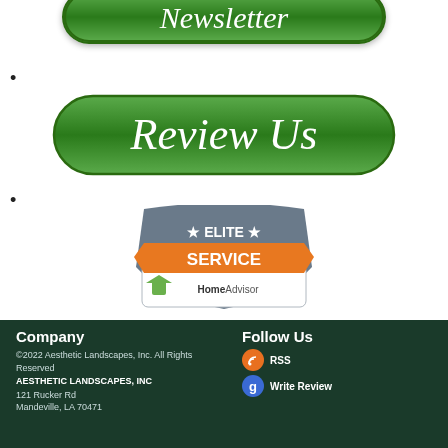[Figure (illustration): Green rounded button with cursive white text 'Newsletter']
•
[Figure (illustration): Green rounded button with cursive white text 'Review Us']
•
[Figure (logo): HomeAdvisor Elite Service badge: grey shield top with 'ELITE' and stars, orange ribbon with 'SERVICE', white bottom with HomeAdvisor logo]
Company | Follow Us | ©2022 Aesthetic Landscapes, Inc. All Rights Reserved | AESTHETIC LANDSCAPES, INC | 121 Rucker Rd | Mandeville, LA 70471 | RSS | Write Review